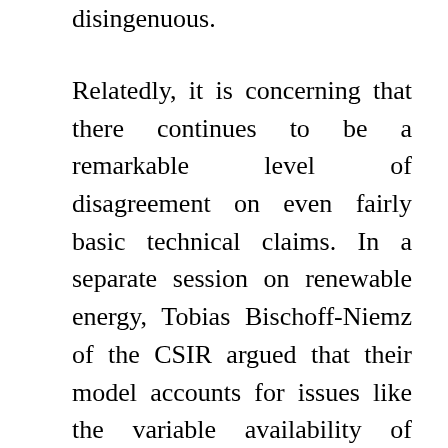disingenuous.
Relatedly, it is concerning that there continues to be a remarkable level of disagreement on even fairly basic technical claims. In a separate session on renewable energy, Tobias Bischoff-Niemz of the CSIR argued that their model accounts for issues like the variable availability of renewables; in the nuclear power session, Eskom's Chief Nuclear Engineer argued the opposite. And while pro-nuclear speakers cited the example of Germany's expensive electricity as an illustration of what would happen if South Africa increased its reliance on renewables, Bischoff-Niemz had argued that this was due to Germany investing heavily in renewable penetration above the average and